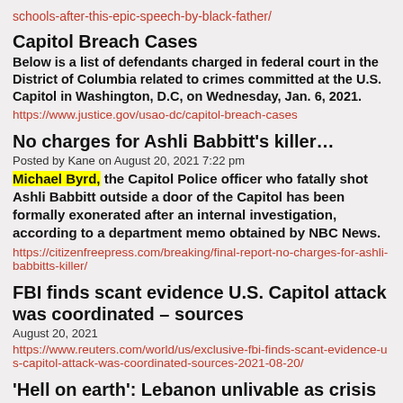schools-after-this-epic-speech-by-black-father/
Capitol Breach Cases
Below is a list of defendants charged in federal court in the District of Columbia related to crimes committed at the U.S. Capitol in Washington, D.C, on Wednesday, Jan. 6, 2021.
https://www.justice.gov/usao-dc/capitol-breach-cases
No charges for Ashli Babbitt's killer…
Posted by Kane on August 20, 2021 7:22 pm
Michael Byrd, the Capitol Police officer who fatally shot Ashli Babbitt outside a door of the Capitol has been formally exonerated after an internal investigation, according to a department memo obtained by NBC News.
https://citizenfreepress.com/breaking/final-report-no-charges-for-ashli-babbitts-killer/
FBI finds scant evidence U.S. Capitol attack was coordinated – sources
August 20, 2021
https://www.reuters.com/world/us/exclusive-fbi-finds-scant-evidence-us-capitol-attack-was-coordinated-sources-2021-08-20/
'Hell on earth': Lebanon unlivable as crisis deepens
20/08/2021